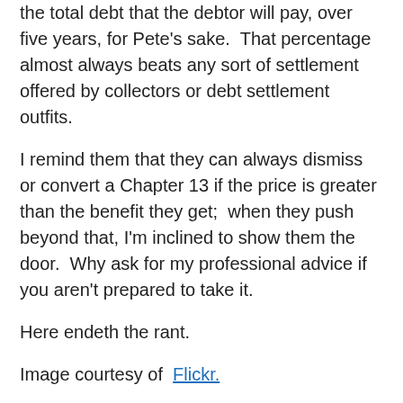the total debt that the debtor will pay, over five years, for Pete's sake.  That percentage almost always beats any sort of settlement offered by collectors or debt settlement outfits.
I remind them that they can always dismiss or convert a Chapter 13 if the price is greater than the benefit they get;  when they push beyond that, I'm inclined to show them the door.  Why ask for my professional advice if you aren't prepared to take it.
Here endeth the rant.
Image courtesy of  Flickr.
More from my site